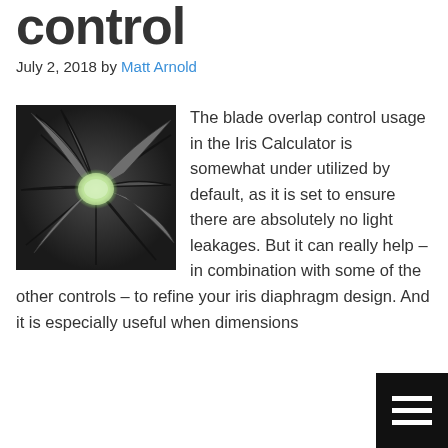control
July 2, 2018 by Matt Arnold
[Figure (photo): Close-up photograph of a camera iris diaphragm with curved blades forming a circular aperture, with a greenish glow at the center opening.]
The blade overlap control usage in the Iris Calculator is somewhat under utilized by default, as it is set to ensure there are absolutely no light leakages. But it can really help – in combination with some of the other controls – to refine your iris diaphragm design. And it is especially useful when dimensions